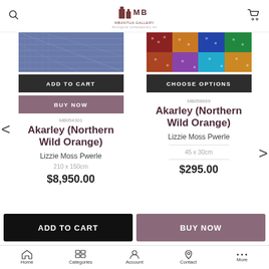Mbantua Gallery - Aboriginal contemporary art
[Figure (photo): Aboriginal dot painting artwork - blue/purple tones (left product)]
ADD TO CART
BUY NOW
MB054301
Akarley (Northern Wild Orange)
Lizzie Moss Pwerle
210 x 150cm
$8,950.00
[Figure (photo): Aboriginal dot painting artwork - colourful squares pattern (right product)]
CHOOSE OPTIONS
MB058669
Akarley (Northern Wild Orange)
Lizzie Moss Pwerle
45 x 30cm
$295.00
ADD TO CART
BUY NOW
Home  Categories  Account  Contact  More